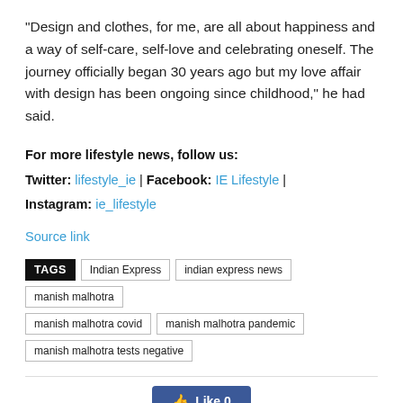“Design and clothes, for me, are all about happiness and a way of self-care, self-love and celebrating oneself. The journey officially began 30 years ago but my love affair with design has been ongoing since childhood,” he had said.
For more lifestyle news, follow us:
Twitter: lifestyle_ie | Facebook: IE Lifestyle |
Instagram: ie_lifestyle
Source link
TAGS  Indian Express  indian express news  manish malhotra  manish malhotra covid  manish malhotra pandemic  manish malhotra tests negative
[Figure (other): Like button with thumbs up icon showing 'Like 0']